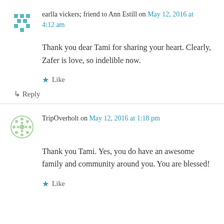earlla vickers; friend to Ann Estill on May 12, 2016 at 4:12 am
Thank you dear Tami for sharing your heart. Clearly, Zafer is love, so indelible now.
Like
Reply
TripOverholt on May 12, 2016 at 1:18 pm
Thank you Tami. Yes, you do have an awesome family and community around you. You are blessed!
Like